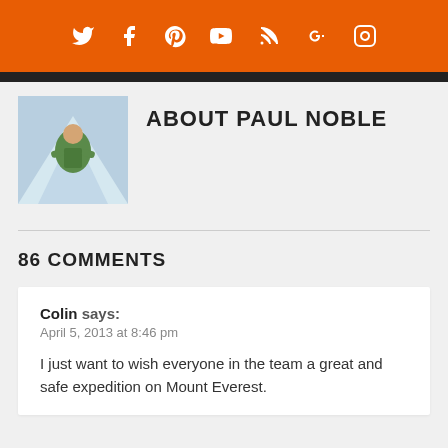Social media icons: Twitter, Facebook, Pinterest, YouTube, RSS, Google+, Instagram
[Figure (photo): Photo of a person mountaineering in snowy conditions, wearing green jacket]
ABOUT PAUL NOBLE
86 COMMENTS
Colin says:
April 5, 2013 at 8:46 pm
I just want to wish everyone in the team a great and safe expedition on Mount Everest.